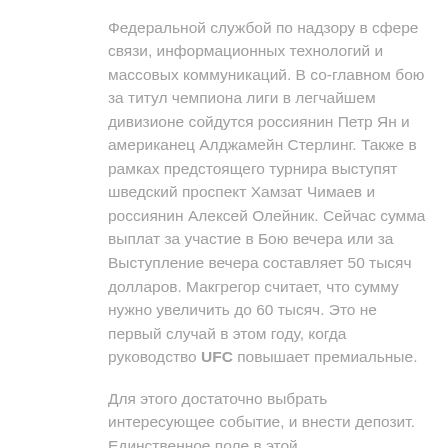Федеральной службой по надзору в сфере связи, информационных технологий и массовых коммуникаций. В со-главном бою за титул чемпиона лиги в легчайшем дивизионе сойдутся россиянин Петр Ян и американец Алджамейн Стерлинг. Также в рамках предстоящего турнира выступят шведский проспект Хамзат Чимаев и россиянин Алексей Олейник. Сейчас сумма выплат за участие в Бою вечера или за Выступление вечера составляет 50 тысяч долларов. Макгрегор считает, что сумму нужно увеличить до 60 тысяч. Это не первый случай в этом году, когда руководство UFC повышает премиальные.
Для этого достаточно выбрать интересующее событие, и внести депозит. Единственное поле в этой регистрационной форме предназначено для того, чтобы ввести в него промокод